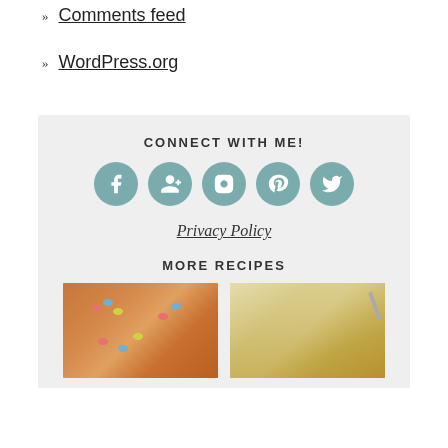Comments feed
WordPress.org
CONNECT WITH ME!
[Figure (infographic): Five social media icons (Facebook, Google+, Instagram, Pinterest, Twitter) as teal circles with white icons]
Privacy Policy
MORE RECIPES
[Figure (photo): Photo of bird nest cookie cups with pastel candy eggs]
[Figure (photo): Photo of creamy pasta dish with fork]